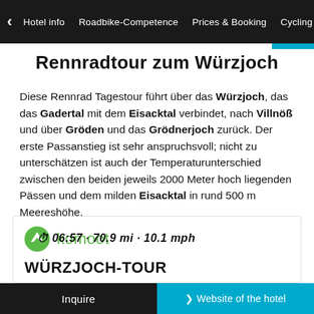Hotel info | Roadbike-Competence | Prices & Booking | Cycling
Rennradtour zum Würzjoch
Diese Rennrad Tagestour führt über das Würzjoch, das das Gadertal mit dem Eisacktal verbindet, nach Villnöß und über Gröden und das Grödnerjoch zurück. Der erste Passanstieg ist sehr anspruchsvoll; nicht zu unterschätzen ist auch der Temperaturunterschied zwischen den beiden jeweils 2000 Meter hoch liegenden Pässen und dem milden Eisacktal in rund 500 m Meereshöhe.
[Figure (logo): Komoot logo - green circle with white mountain/peak symbol and the word komoot in green]
WÜRZJOCH-TOUR
06:57 · 70.9 mi · 10.1 mph
Inquire | > Website of the hotel